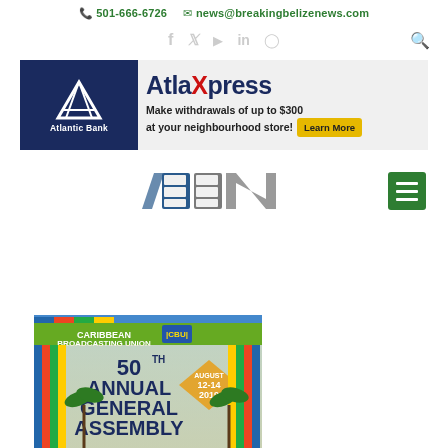📞 501-666-6726  ✉ news@breakingbelizenews.com
[Figure (logo): Social media icons: facebook, twitter, play, linkedin, instagram, and search icon]
[Figure (infographic): Atlantic Bank AtlaXpress advertisement banner: Make withdrawals of up to $300 at your neighbourhood store! Learn More]
[Figure (logo): BBN (Breaking Belize News) logo with green hamburger menu button]
[Figure (photo): Caribbean Broadcasting Union 50th Annual General Assembly event poster, August 12-14 2019]